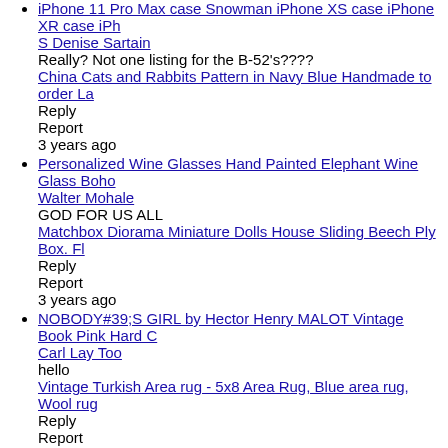iPhone 11 Pro Max case Snowman iPhone XS case iPhone XR case iPh
S Denise Sartain
Really? Not one listing for the B-52's????
China Cats and Rabbits Pattern in Navy Blue Handmade to order La
Reply
Report
3 years ago
Personalized Wine Glasses Hand Painted Elephant Wine Glass Boho
Walter Mohale
GOD FOR US ALL
Matchbox Diorama Miniature Dolls House Sliding Beech Ply Box. Fl
Reply
Report
3 years ago
NOBODY#39;S GIRL by Hector Henry MALOT Vintage Book Pink Hard C
Carl Lay Too
hello
Vintage Turkish Area rug - 5x8 Area Rug, Blue area rug, Wool rug
Reply
Report